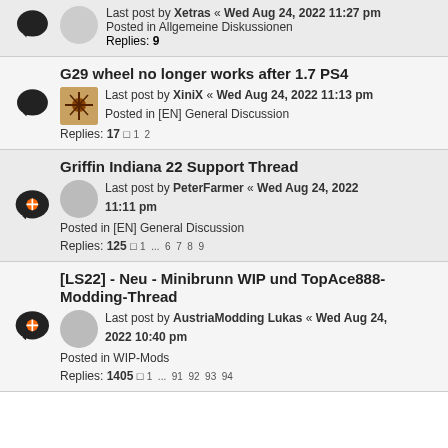Last post by Xetras « Wed Aug 24, 2022 11:27 pm
Posted in Allgemeine Diskussionen
Replies: 9
G29 wheel no longer works after 1.7 PS4
Last post by XiniX « Wed Aug 24, 2022 11:13 pm
Posted in [EN] General Discussion
Replies: 17  1 2
Griffin Indiana 22 Support Thread
Last post by PeterFarmer « Wed Aug 24, 2022 11:11 pm
Posted in [EN] General Discussion
Replies: 125  1 ... 6 7 8 9
[LS22] - Neu - Minibrunn WIP und TopAce888-Modding-Thread
Last post by AustriaModding Lukas « Wed Aug 24, 2022 10:40 pm
Posted in WIP-Mods
Replies: 1405  1 ... 91 92 93 94